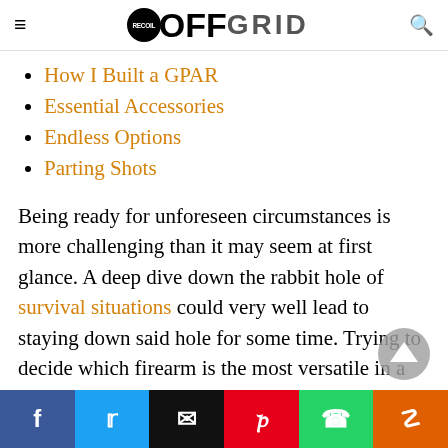RECOIL OFFGRID
How I Built a GPAR
Essential Accessories
Endless Options
Parting Shots
Being ready for unforeseen circumstances is more challenging than it may seem at first glance. A deep dive down the rabbit hole of survival situations could very well lead to staying down said hole for some time. Trying to decide which firearm is the most versatile in a survival situation is no different, and it sparks a lot of
Facebook Twitter Email Pinterest WhatsApp Reddit social share bar